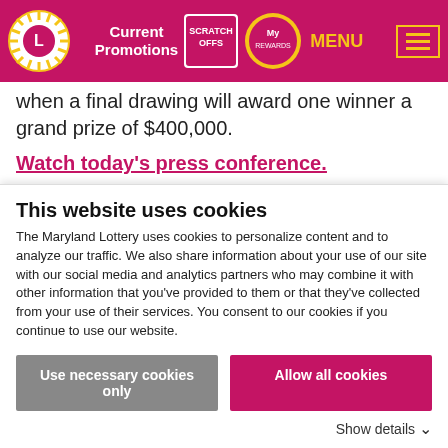Current Promotions | SCRATCH OFFS | My Rewards | MENU
when a final drawing will award one winner a grand prize of $400,000.
Watch today's press conference.
“Go out and get vaccinated to protect yourself, your family, your friends, and your fellow Marylanders,” said Governor Hogan. “And if you needed one more good reason, then go out and get vaccinated for your chance to win a share of this $2 million. So
This website uses cookies
The Maryland Lottery uses cookies to personalize content and to analyze our traffic. We also share information about your use of our site with our social media and analytics partners who may combine it with other information that you’ve provided to them or that they’ve collected from your use of their services. You consent to our cookies if you continue to use our website.
Use necessary cookies only | Allow all cookies
Show details